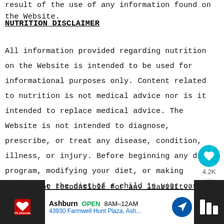result of the use of any information found on the Website.
NUTRITION DISCLAIMER
All information provided regarding nutrition on the Website is intended to be used for informational purposes only. Content related to nutrition is not medical advice nor is it intended to replace medical advice. The Website is not intended to diagnose, prescribe, or treat any disease, condition, illness, or injury. Before beginning any diet program, modifying your diet, or making changes to the diet of a child in your care, including following the nutrition information available on the Website, you should seek advice from a licensed professional.
We are not responsible for any liability, loss, or damage caused or alleged to be caused directly or indirectly as a result of the use of any information, including nutrition information